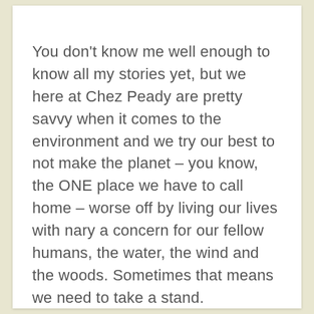You don't know me well enough to know all my stories yet, but we here at Chez Peady are pretty savvy when it comes to the environment and we try our best to not make the planet – you know, the ONE place we have to call home – worse off by living our lives with nary a concern for our fellow humans, the water, the wind and the woods. Sometimes that means we need to take a stand.
And stand we did.
We went on the hunt for a toothpaste that had fluoride, but did not contain microbeads.